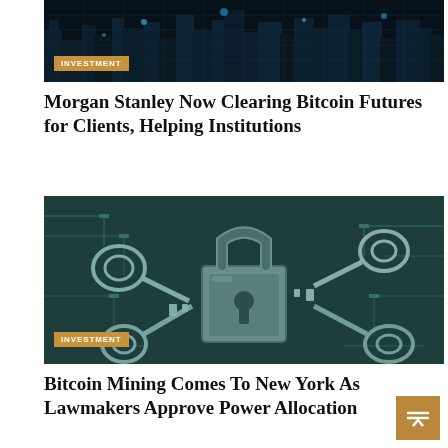[Figure (photo): Aerial night cityscape with blue neon grid lines and lights from above]
INVESTMENT
Morgan Stanley Now Clearing Bitcoin Futures for Clients, Helping Institutions
[Figure (photo): Circuit board with padlock and keys, teal/dark green tones, representing crypto security]
INVESTMENT
Bitcoin Mining Comes To New York As Lawmakers Approve Power Allocation